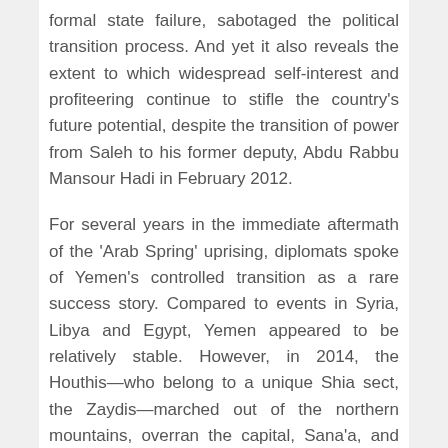formal state failure, sabotaged the political transition process. And yet it also reveals the extent to which widespread self-interest and profiteering continue to stifle the country's future potential, despite the transition of power from Saleh to his former deputy, Abdu Rabbu Mansour Hadi in February 2012.
For several years in the immediate aftermath of the 'Arab Spring' uprising, diplomats spoke of Yemen's controlled transition as a rare success story. Compared to events in Syria, Libya and Egypt, Yemen appeared to be relatively stable. However, in 2014, the Houthis—who belong to a unique Shia sect, the Zaydis—marched out of the northern mountains, overran the capital, Sana'a, and forced Hadi to flee the country. Saudi Arabia's decision to intervene by launching air strikes in March 2015, on the basis that Iran was backing the Houthis, has implications for the internal politics of both Yemen and Saudi, as well as Riyadh's future relations